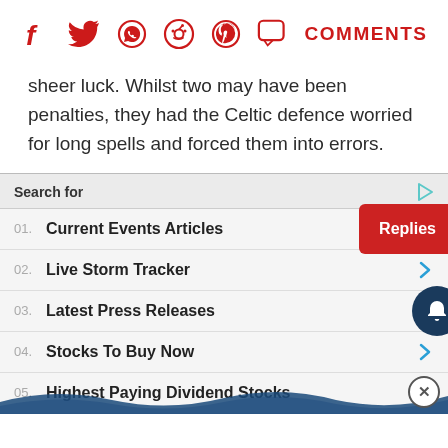[Figure (infographic): Social sharing icons bar: Facebook, Twitter, WhatsApp, Reddit, Pinterest, Comments (speech bubble) icons in red, followed by red COMMENTS text label]
sheer luck. Whilst two may have been penalties, they had the Celtic defence worried for long spells and forced them into errors.
[Figure (infographic): Advertisement widget with search list: Search for header with play icon, then numbered list items: 01. Current Events Articles, 02. Live Storm Tracker, 03. Latest Press Releases, 04. Stocks To Buy Now, 05. Highest Paying Dividend Stocks — each with a teal chevron arrow. Overlaid: red Replies button, dark navy bell notification button, wave decoration at bottom, close X button.]